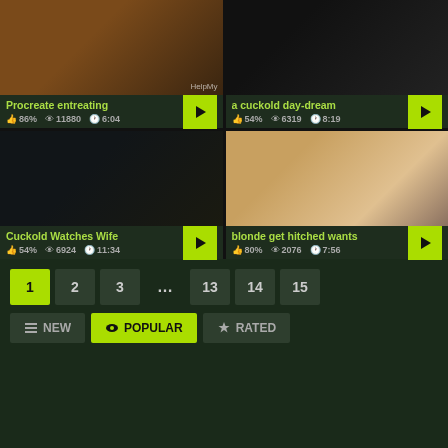[Figure (screenshot): Video thumbnail top-left: people standing in a room with orange walls and brown leather chair]
Procreate entreating
👍 86%  👁 11880  🕐 6:04
[Figure (screenshot): Video thumbnail top-right: dark image with masked figure]
a cuckold day-dream
👍 54%  👁 6319  🕐 8:19
[Figure (screenshot): Video thumbnail bottom-left: bedroom scene]
Cuckold Watches Wife
👍 54%  👁 6924  🕐 11:34
[Figure (screenshot): Video thumbnail bottom-right: bright room scene with people]
blonde get hitched wants
👍 80%  👁 2076  🕐 7:56
1  2  3  ...  13  14  15
NEW  POPULAR  RATED